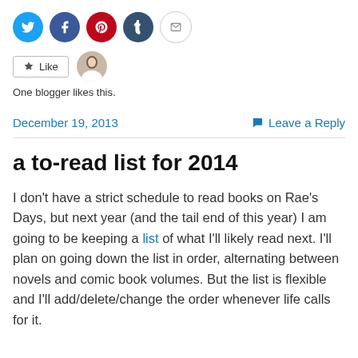[Figure (other): Social share buttons: Twitter (blue circle), Facebook (blue circle), Pinterest (red circle), Tumblr (dark blue circle), Email (grey outlined circle)]
[Figure (other): Like button with star icon and a blogger avatar photo]
One blogger likes this.
December 19, 2013    Leave a Reply
a to-read list for 2014
I don't have a strict schedule to read books on Rae's Days, but next year (and the tail end of this year) I am going to be keeping a list of what I'll likely read next. I'll plan on going down the list in order, alternating between novels and comic book volumes. But the list is flexible and I'll add/delete/change the order whenever life calls for it.